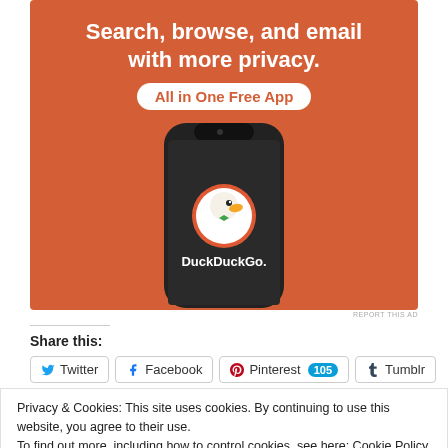[Figure (illustration): DuckDuckGo advertisement banner with orange background, headline 'Search, browse, and email with more privacy. All in One Free App', and a smartphone mockup showing the DuckDuckGo app icon and name.]
REPORT THIS AD
Share this:
Twitter  Facebook  Pinterest 105  Tumblr
Privacy & Cookies: This site uses cookies. By continuing to use this website, you agree to their use.
To find out more, including how to control cookies, see here: Cookie Policy
Close and accept